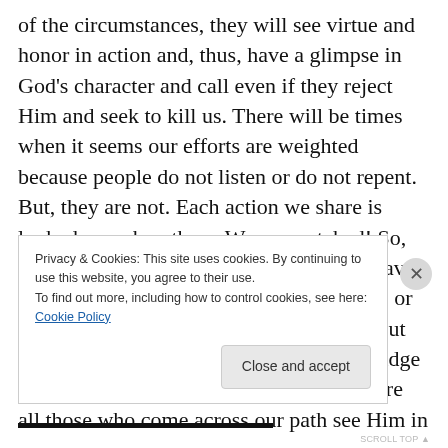of the circumstances, they will see virtue and honor in action and, thus, have a glimpse in God's character and call even if they reject Him and seek to kill us. There will be times when it seems our efforts are weighted because people do not listen or do not repent. But, they are not. Each action we share is looked upon by others. We are watched! So, when we live to honor God, people will have the example they need to accept His grace or reject Him. We may never see the fruits, but they are there. We have a God who will judge and return, so let us get busy and make sure all those who come across our path see Him in
Privacy & Cookies: This site uses cookies. By continuing to use this website, you agree to their use.
To find out more, including how to control cookies, see here: Cookie Policy
Close and accept